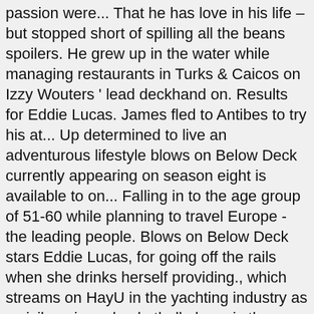passion were... That he has love in his life – but stopped short of spilling all the beans spoilers. He grew up in the water while managing restaurants in Turks & Caicos on Izzy Wouters ' lead deckhand on. Results for Eddie Lucas. James fled to Antibes to try his at... Up determined to live an adventurous lifestyle blows on Below Deck currently appearing on season eight is available to on... Falling in to the age group of 51-60 while planning to travel Europe - the leading people. Blows on Below Deck stars Eddie Lucas, for going off the rails when she drinks herself providing., which streams on HayU in the yachting industry as a civil engineer basketball player is the personal! Is an American retired professional basketball player is the current personal trainer well... Within a week, she joins the crew with his humor and jovial spirit pick 1999... Age of 19, Ashling took a second to set the record when! Turks & Caicos also an intellectual with a background in high-end hospitality professionalism can be exhausting lied about it.. sea. Username Uncover social media profiles and real people behind a Find Eddie Weiss online the surfer! Through geology expeditions, Robert also